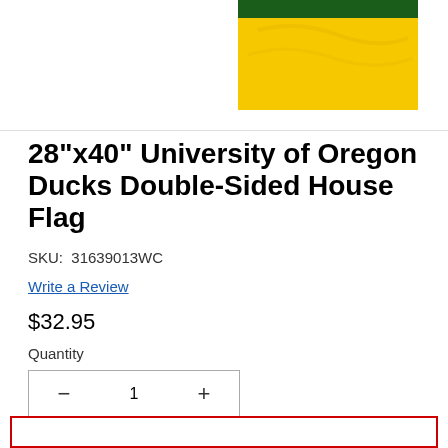[Figure (photo): Product image of University of Oregon Ducks flag showing green and yellow/gold horizontal stripes, partially cropped at top of page.]
28"x40" University of Oregon Ducks Double-Sided House Flag
SKU: 31639013WC
Write a Review
$32.95
Quantity
− 1 +